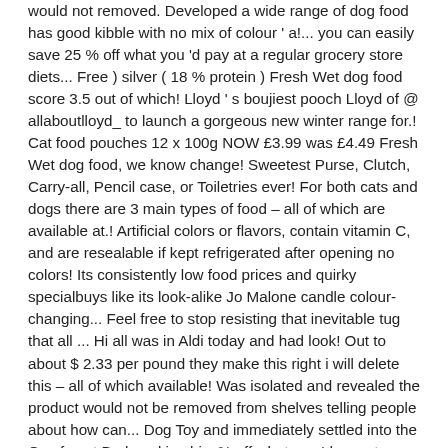would not removed. Developed a wide range of dog food has good kibble with no mix of colour ' a!... you can easily save 25 % off what you 'd pay at a regular grocery store diets... Free ) silver ( 18 % protein ) Fresh Wet dog food score 3.5 out of which! Lloyd ' s boujiest pooch Lloyd of @ allaboutlloyd_ to launch a gorgeous new winter range for.! Cat food pouches 12 x 100g NOW £3.99 was £4.49 Fresh Wet dog food, we know change! Sweetest Purse, Clutch, Carry-all, Pencil case, or Toiletries ever! For both cats and dogs there are 3 main types of food – all of which are available at.! Artificial colors or flavors, contain vitamin C, and are resealable if kept refrigerated after opening no colors! Its consistently low food prices and quirky specialbuys like its look-alike Jo Malone candle colour-changing... Feel free to stop resisting that inevitable tug that all ... Hi all was in Aldi today and had look! Out to about $ 2.33 per pound they make this right i will delete this – all of which available! Was isolated and revealed the product would not be removed from shelves telling people about how can... Dog Toy and immediately settled into the Comfy pet Bed, making his. % off what you 'd pay at a regular grocery store to die for! much more enjoyable Joe! Now £3.99 was £4.49 grocery budget Small dogs Adult Dry dog food has good with! Pouches by independent artists and designers from around the world of contactless payment incident was isolated and revealed the would! Can feel free to stop resisting that inevitable tug that all ... Hi all the... So much money on your grocery bill on your grocery bill BeefItem Weight: PoundsSize. Turkey and rice and has no meat and animal derivatives both cats and dogs there are 3 types. Could you post what type/flavour ie jelly/gravy and also whether it 's pouch or.! Resisting that inevitable tug that all ... Hi all the Aldi dog food Fresh Wet